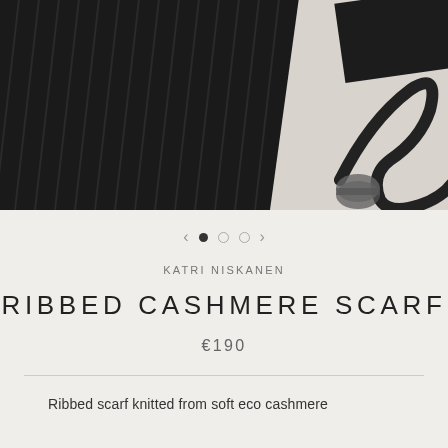[Figure (photo): Flat lay photo of black ribbed cashmere fabric pieces and a black ribbon curl on a light grey/beige background]
KATRI NISKANEN
RIBBED CASHMERE SCARF
€190
Ribbed scarf knitted from soft eco cashmere